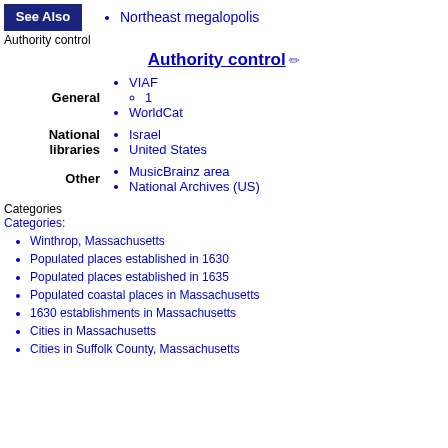Northeast megalopolis
Authority control
Authority control
VIAF
  ◦ 1
WorldCat
Israel
United States
MusicBrainz area
National Archives (US)
Categories
Categories:
Winthrop, Massachusetts
Populated places established in 1630
Populated places established in 1635
Populated coastal places in Massachusetts
1630 establishments in Massachusetts
Cities in Massachusetts
Cities in Suffolk County, Massachusetts